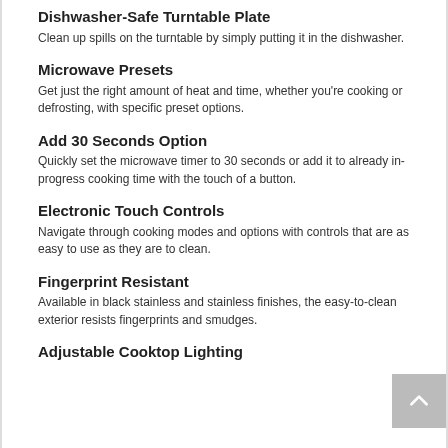Dishwasher-Safe Turntable Plate
Clean up spills on the turntable by simply putting it in the dishwasher.
Microwave Presets
Get just the right amount of heat and time, whether you're cooking or defrosting, with specific preset options.
Add 30 Seconds Option
Quickly set the microwave timer to 30 seconds or add it to already in-progress cooking time with the touch of a button.
Electronic Touch Controls
Navigate through cooking modes and options with controls that are as easy to use as they are to clean.
Fingerprint Resistant
Available in black stainless and stainless finishes, the easy-to-clean exterior resists fingerprints and smudges.
Adjustable Cooktop Lighting